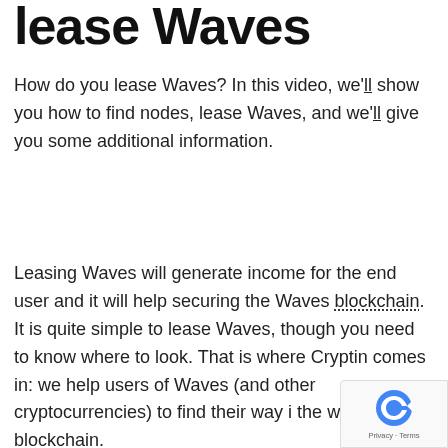lease Waves
How do you lease Waves? In this video, we'll show you how to find nodes, lease Waves, and we'll give you some additional information.
Leasing Waves will generate income for the end user and it will help securing the Waves blockchain. It is quite simple to lease Waves, though you need to know where to look. That is where Cryptin comes in: we help users of Waves (and other cryptocurrencies) to find their way in the world of blockchain.